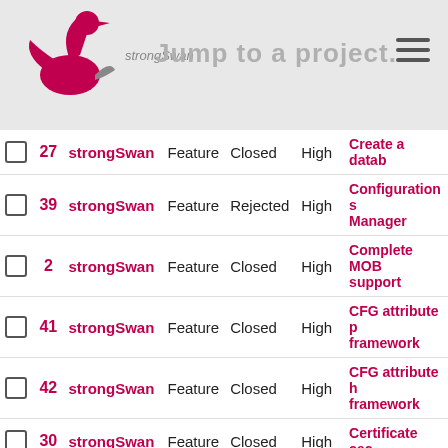strongSwan — Jump to a project...
|  | # | Project | Type | Status | Priority | Title |
| --- | --- | --- | --- | --- | --- | --- |
|  | 27 | strongSwan | Feature | Closed | High | Create a datab... |
|  | 39 | strongSwan | Feature | Rejected | High | Configuration s... Manager |
|  | 2 | strongSwan | Feature | Closed | High | Complete MOB... support |
|  | 41 | strongSwan | Feature | Closed | High | CFG attribute p... framework |
|  | 42 | strongSwan | Feature | Closed | High | CFG attribute h... framework |
|  | 30 | strongSwan | Feature | Closed | High | Certificate cac... |
|  | 25 | strongSwan | Feature | Closed | High | alternative cry... implementation... |
|  | 59 | strongSwan | Feature | Closed | High | Add additinal s... dependent par... bus |
|  | 29 | strongSwan | Bug | Closed | Low | 'make install' f... 'sysconfdir' do... exist |